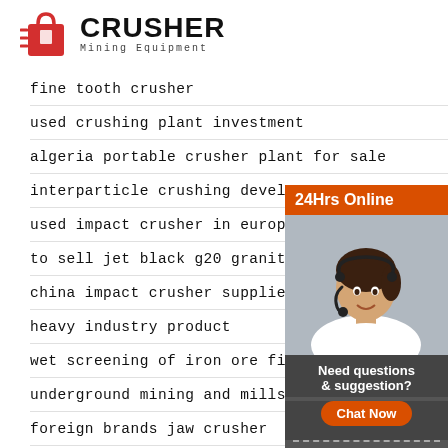[Figure (logo): Crusher Mining Equipment logo with red shopping bag icon and bold CRUSHER text]
fine tooth crusher
used crushing plant investment
algeria portable crusher plant for sale
interparticle crushing developments
used impact crusher in europe
to sell jet black g20 granite quarry in tamilna
china impact crusher suppliers
heavy industry product
wet screening of iron ore fines
underground mining and mills
foreign brands jaw crusher
mobile placer wash plants
[Figure (photo): 24Hrs Online sidebar with photo of smiling woman with headset, Need questions & suggestion? Chat Now button, Enquiry section, limingjlmofen@sina.com email]